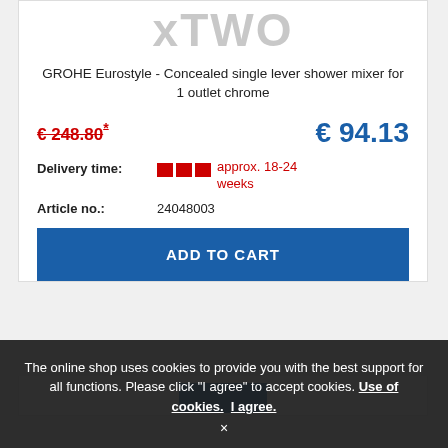[Figure (logo): xTWO logo text in gray]
GROHE Eurostyle - Concealed single lever shower mixer for 1 outlet chrome
€ 248.80* (strikethrough red price) and € 94.13 (blue price)
Delivery time: approx. 18-24 weeks
Article no.: 24048003
ADD TO CART
The online shop uses cookies to provide you with the best support for all functions. Please click "I agree" to accept cookies. Use of cookies. I agree.